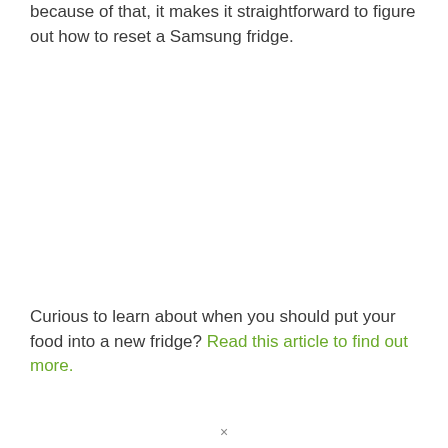because of that, it makes it straightforward to figure out how to reset a Samsung fridge.
Curious to learn about when you should put your food into a new fridge? Read this article to find out more.
×